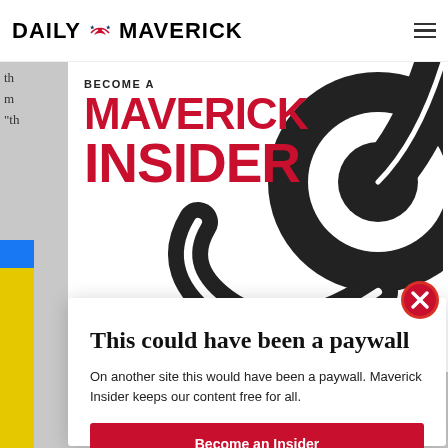DAILY MAVERICK
[Figure (illustration): Maverick Insider promotional banner with red MAVERICK INSIDER text and black swirl/yin-yang graphic on white background]
This could have been a paywall
On another site this would have been a paywall. Maverick Insider keeps our content free for all.
Become an Insider
Already an Insider? Click here to log in.